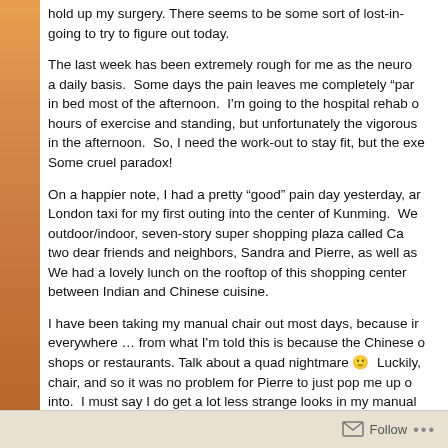hold up my surgery. There seems to be some sort of lost-in- going to try to figure out today.
The last week has been extremely rough for me as the neuro a daily basis.  Some days the pain leaves me completely "par in bed most of the afternoon.  I'm going to the hospital rehab o hours of exercise and standing, but unfortunately the vigorous in the afternoon.  So, I need the work-out to stay fit, but the exe Some cruel paradox!
On a happier note, I had a pretty “good” pain day yesterday, ar London taxi for my first outing into the center of Kunming.  We outdoor/indoor, seven-story super shopping plaza called Ca two dear friends and neighbors, Sandra and Pierre, as well as We had a lovely lunch on the rooftop of this shopping center between Indian and Chinese cuisine.
I have been taking my manual chair out most days, because ir everywhere … from what I'm told this is because the Chinese o shops or restaurants. Talk about a quad nightmare 🙂  Luckily, chair, and so it was no problem for Pierre to just pop me up o into.  I must say I do get a lot less strange looks in my manual chair.
The...
Follow ...